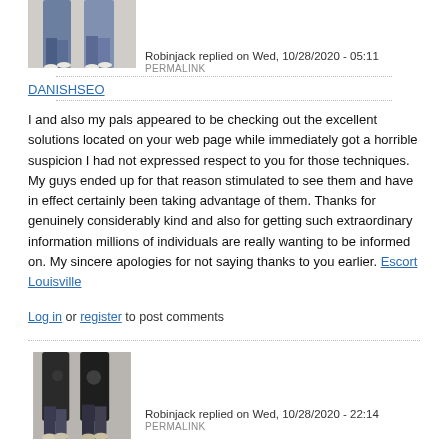[Figure (photo): Avatar photo of two people walking, partially cropped at top]
Robinjack replied on Wed, 10/28/2020 - 05:11 PERMALINK
DANISHSEO
I and also my pals appeared to be checking out the excellent solutions located on your web page while immediately got a horrible suspicion I had not expressed respect to you for those techniques. My guys ended up for that reason stimulated to see them and have in effect certainly been taking advantage of them. Thanks for genuinely considerably kind and also for getting such extraordinary information millions of individuals are really wanting to be informed on. My sincere apologies for not saying thanks to you earlier. Escort Louisville
Log in or register to post comments
[Figure (photo): Avatar photo of two people in dark hoodies walking, partially cropped at bottom]
Robinjack replied on Wed, 10/28/2020 - 22:14 PERMALINK